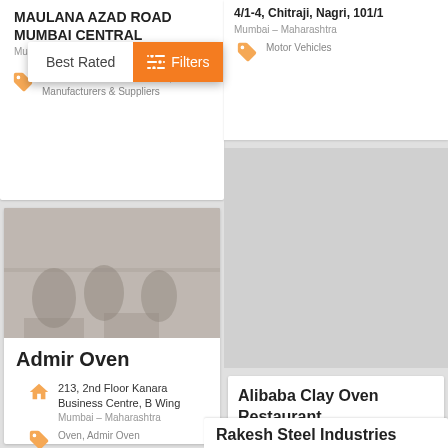MAULANA AZAD ROAD MUMBAI CENTRAL
Mumbai - Maharashtra
BOTTLE MANUFACTURER, Bottle Manufacturers & Suppliers
[Figure (screenshot): Filter bar overlay with 'Best Rated' option and orange 'Filters' button with sliders icon]
4/1-4, Chitraji, Nagri, 101/1
Mumbai - Maharashtra
Motor Vehicles
[Figure (photo): Blurred/dimmed photo of restaurant interior with people seated]
Admir Oven
213, 2nd Floor Kanara Business Centre, B Wing
Mumbai - Maharashtra
Oven, Admir Oven
Alibaba Clay Oven Restaurant
dhanraj mahal apollo bunder
Mumbai - Maharashtra
BUILDING MATERIALS, Clay
Rakesh Steel Industries